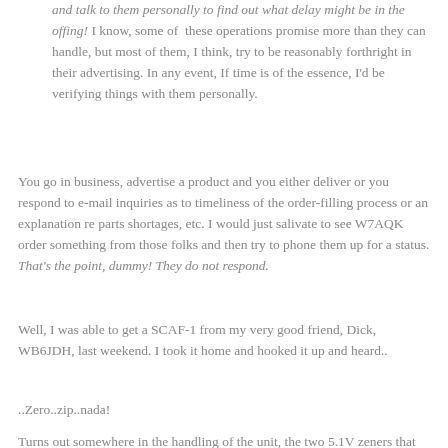and talk to them personally to find out what delay might be in the offing! I know, some of these operations promise more than they can handle, but most of them, I think, try to be reasonably forthright in their advertising. In any event, If time is of the essence, I'd be verifying things with them personally.
You go in business, advertise a product and you either deliver or you respond to e-mail inquiries as to timeliness of the order-filling process or an explanation re parts shortages, etc. I would just salivate to see W7AQK order something from those folks and then try to phone them up for a status. That's the point, dummy! They do not respond.
Well, I was able to get a SCAF-1 from my very good friend, Dick, WB6JDH, last weekend. I took it home and hooked it up and heard..
..Zero..zip..nada!
Turns out somewhere in the handling of the unit, the two 5.1V zeners that comprise the -5VDC supply took a dirt nap